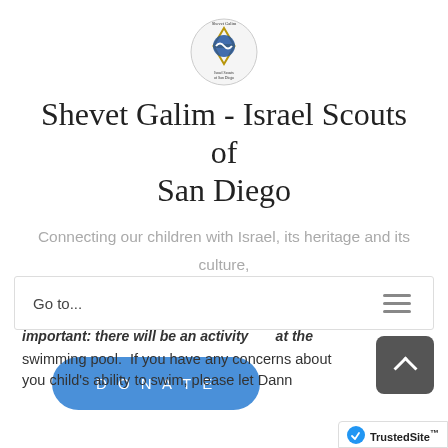[Figure (logo): Shevet Galim Israel Scouts of San Diego circular logo with star of David and wave emblem]
Shevet Galim - Israel Scouts of San Diego
Connecting our children with Israel, its heritage and its culture,

while developing the leaders of tomorrow.
DONATE
Go to...
important: there will be an activity at the swimming pool.  If you have any concerns about you child's ability to swim, please let Dann